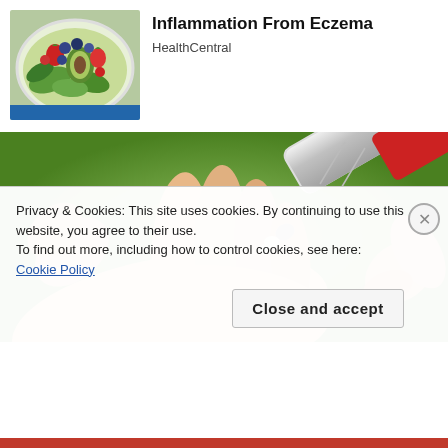[Figure (photo): Overhead view of a colorful fruit and vegetable salad bowl with berries, avocado, and greens]
Inflammation From Eczema
HealthCentral
[Figure (photo): Close-up of a hand applying cream from a silver tube onto the palm, green background]
Privacy & Cookies: This site uses cookies. By continuing to use this website, you agree to their use.
To find out more, including how to control cookies, see here: Cookie Policy
Close and accept